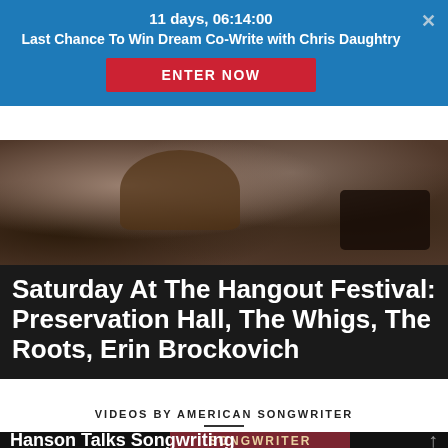11 days, 06:14:00
Last Chance To Win Dream Co-Write with Chris Daughtry
ENTER NOW
[Figure (photo): Dark photo of musicians/instruments at a festival, partially visible behind the banner overlay]
Saturday At The Hangout Festival: Preservation Hall, The Whigs, The Roots, Erin Brockovich
VIDEOS BY AMERICAN SONGWRITER
Hanson Talks Songwriting